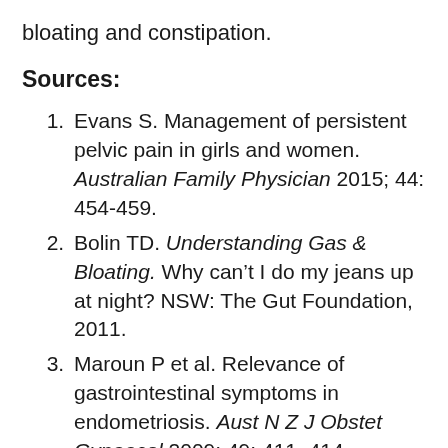bloating and constipation.
Sources:
Evans S. Management of persistent pelvic pain in girls and women. Australian Family Physician 2015; 44: 454-459.
Bolin TD. Understanding Gas & Bloating. Why can't I do my jeans up at night? NSW: The Gut Foundation, 2011.
Maroun P et al. Relevance of gastrointestinal symptoms in endometriosis. Aust N Z J Obstet Gynaecol 2009; 49: 411–414.
Saidi K et al. A systematic review and meta-analysis of the associations